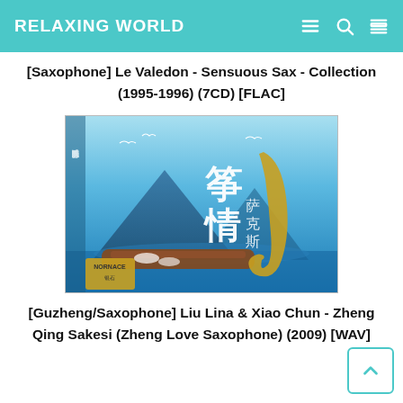RELAXING WORLD
[Saxophone] Le Valedon - Sensuous Sax - Collection (1995-1996) (7CD) [FLAC]
[Figure (photo): Album cover for Zheng Qing Sakesi - blue background with Chinese characters, a guzheng (zither) instrument, saxophone, and mountain scenery]
[Guzheng/Saxophone] Liu Lina & Xiao Chun - Zheng Qing Sakesi (Zheng Love Saxophone) (2009) [WAV]